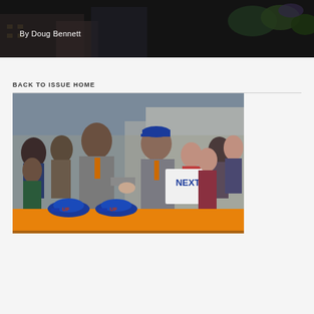[Figure (photo): Top banner photo showing a street or campus scene with buildings and greenery, dark/muted tones]
By Doug Bennett
BACK TO ISSUE HOME
[Figure (photo): Two men in suits shaking hands outdoors, surrounded by a crowd. One wears a blue cap. A woman in the crowd holds a sign reading 'NEXT?' in blue letters. UF-branded baseball caps sit on an orange table in the foreground.]